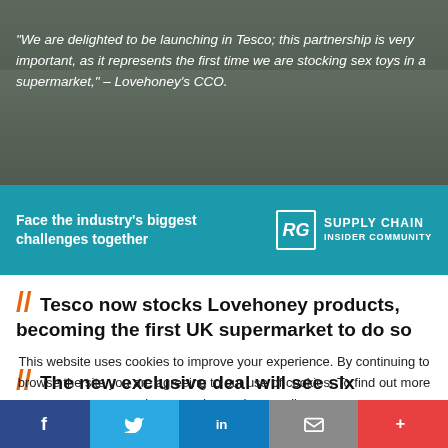[Figure (photo): Car park photo used as background for quote banner]
“We are delighted to be launching in Tesco; this partnership is very important, as it represents the first time we are stocking sex toys in a supermarket,” – Lovehoney’s CCO.
[Figure (logo): RG Supply Chain Insider Community logo on teal background with text: Face the industry's biggest challenges together]
Tesco now stocks Lovehoney products, becoming the first UK supermarket to do so
The new exclusive deal will see six Lovehoney
This website uses cookies to improve your experience. By continuing to browse the site you are agreeing to our use of cookies. To find out more please read our privacy policy
Accept - To find out more: Read our updated privacy
f  Twitter  in  Email  +